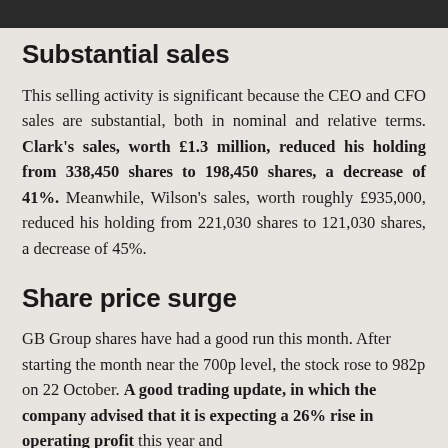Substantial sales
This selling activity is significant because the CEO and CFO sales are substantial, both in nominal and relative terms. Clark's sales, worth £1.3 million, reduced his holding from 338,450 shares to 198,450 shares, a decrease of 41%. Meanwhile, Wilson's sales, worth roughly £935,000, reduced his holding from 221,030 shares to 121,030 shares, a decrease of 45%.
Share price surge
GB Group shares have had a good run this month. After starting the month near the 700p level, the stock rose to 982p on 22 October. A good trading update, in which the company advised that it is expecting a 26% rise in operating profit this year and